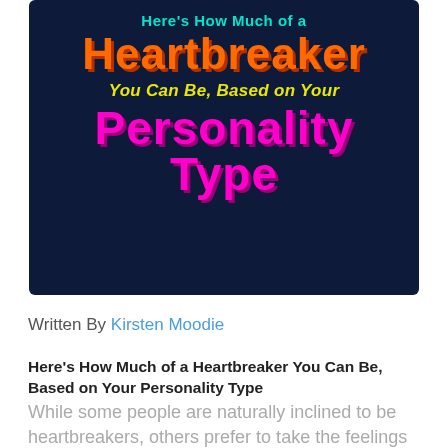[Figure (illustration): Dark navy blue background graphic with colorful text reading: 'Here's How Much of a Heartbreaker You Can Be, Based on Your Personality Type' — 'Heartbreaker' in large orange distressed font, 'You Can Be, Based on Your' in yellow italic, 'Personality Type' in large magenta, and 'Here's How Much of a' in teal.]
Written By Kirsten Moodie
Here's How Much of a Heartbreaker You Can Be, Based on Your Personality Type
While some people are naturally inclined to be heartbreakers, others prefer to take the feelings of others much more seriously. Being...